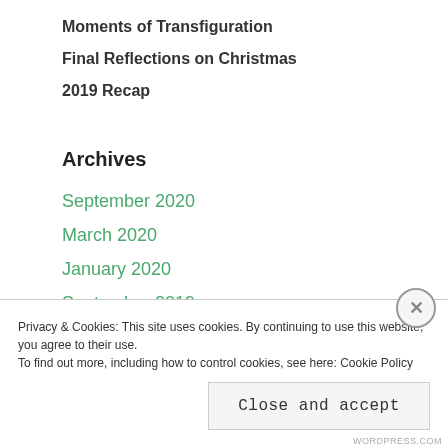Moments of Transfiguration
Final Reflections on Christmas
2019 Recap
Archives
September 2020
March 2020
January 2020
September 2019
August 2019
July 2019
Privacy & Cookies: This site uses cookies. By continuing to use this website, you agree to their use.
To find out more, including how to control cookies, see here: Cookie Policy
Close and accept